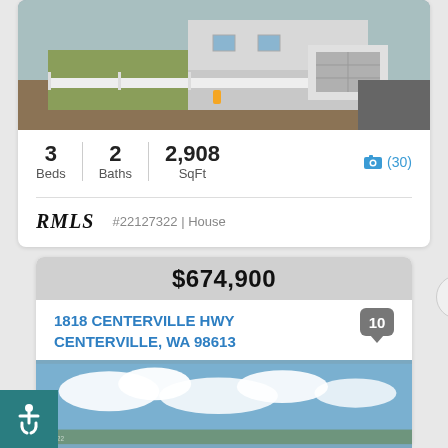[Figure (photo): Aerial/elevated photo of a white single-story house with garage, chain-link fence, and driveway]
3 Beds | 2 Baths | 2,908 SqFt
📷 (30)
RMLS  #22127322 | House
$674,900
1818 CENTERVILLE HWY CENTERVILLE, WA 98613
[Figure (photo): Sky and clouds photo, property exterior partially visible]